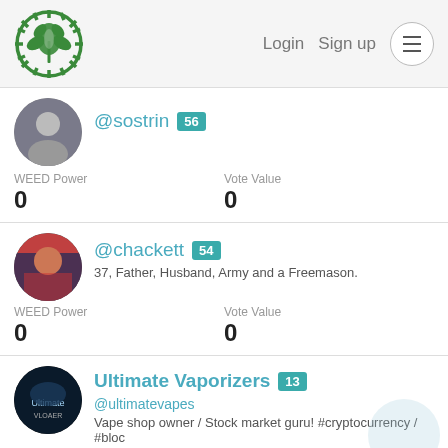Login  Sign up  [menu]
@sostrin 56
WEED Power: 0
Vote Value: 0
@chackett 54
37, Father, Husband, Army and a Freemason.
WEED Power: 0
Vote Value: 0
Ultimate Vaporizers 13
@ultimatevapes
Vape shop owner / Stock market guru! #cryptocurrency / #bloc
WEED Power: 0
Vote Value: 0